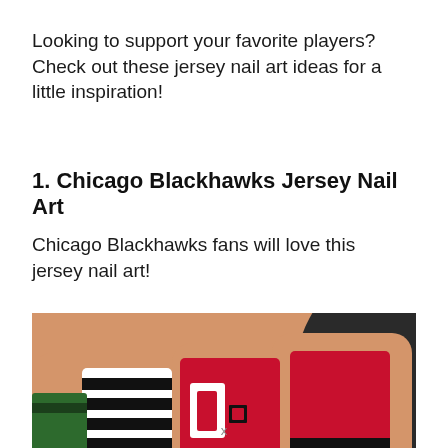Looking to support your favorite players? Check out these jersey nail art ideas for a little inspiration!
1. Chicago Blackhawks Jersey Nail Art
Chicago Blackhawks fans will love this jersey nail art!
[Figure (photo): Close-up photo of hands with Chicago Blackhawks themed jersey nail art featuring red, black, and white stripes and a jersey number design]